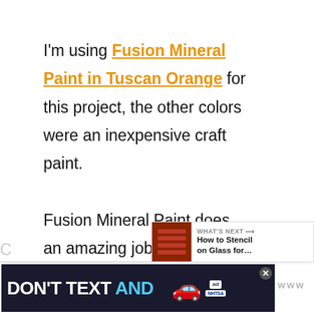I'm using Fusion Mineral Paint in Tuscan Orange for this project, the other colors were an inexpensive craft paint. Fusion Mineral Paint does an amazing job of sticking to almost any surface. I use it all the time on my repurposed pumpkins that are often made from metal. The pumpkin stencil I used for this pro[ject is the] Fall Produce Stencil from Old Sign Stencils.
[Figure (screenshot): What's Next overlay showing thumbnail and text 'How to Stencil on Glass for...']
[Figure (screenshot): Ad banner: DON'T TEXT AND [DRIVE] with car emoji and NHTSA logo]